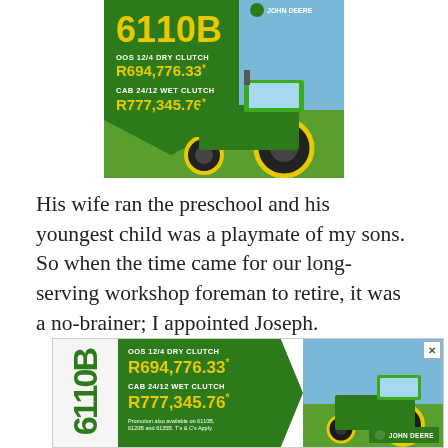[Figure (photo): John Deere 6110B tractor advertisement showing tractor in field with pricing: OOS 12/4 DRY CLUTCH R694,776.33* and CAB 24/12 WET CLUTCH R777,345.76*]
His wife ran the preschool and his youngest child was a playmate of my sons. So when the time came for our long-serving workshop foreman to retire, it was a no-brainer; I appointed Joseph.
[Figure (photo): John Deere 6110B tractor advertisement banner at bottom: OOS 12/4 DRY CLUTCH R694,776.33* CAB 24/12 WET CLUTCH R777,345.76* Promotion also available on 6110B, 6120B and 6135B. T's & C's Apply.]